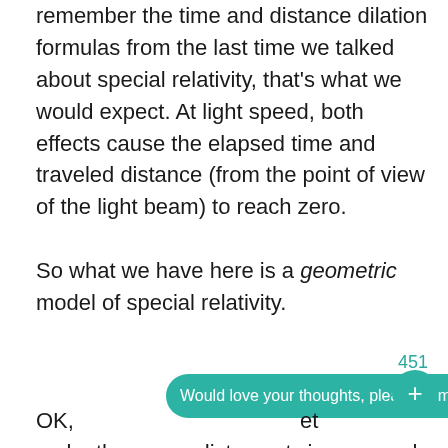remember the time and distance dilation formulas from the last time we talked about special relativity, that's what we would expect. At light speed, both effects cause the elapsed time and traveled distance (from the point of view of the light beam) to reach zero.

So what we have here is a geometric model of special relativity.

OK, ... make the space distance twice as much
451